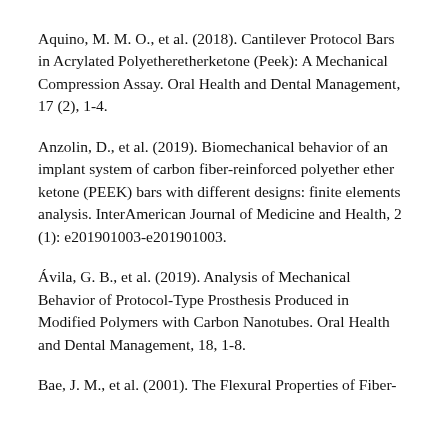Aquino, M. M. O., et al. (2018). Cantilever Protocol Bars in Acrylated Polyetheretherketone (Peek): A Mechanical Compression Assay. Oral Health and Dental Management, 17 (2), 1-4.
Anzolin, D., et al. (2019). Biomechanical behavior of an implant system of carbon fiber-reinforced polyether ether ketone (PEEK) bars with different designs: finite elements analysis. InterAmerican Journal of Medicine and Health, 2 (1): e201901003-e201901003.
Ávila, G. B., et al. (2019). Analysis of Mechanical Behavior of Protocol-Type Prosthesis Produced in Modified Polymers with Carbon Nanotubes. Oral Health and Dental Management, 18, 1-8.
Bae, J. M., et al. (2001). The Flexural Properties of Fiber-